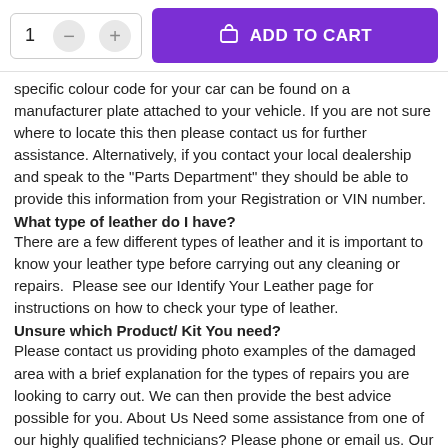[Figure (screenshot): Add to cart UI with quantity selector showing 1, minus and plus buttons, and a purple ADD TO CART button with shopping bag icon]
specific colour code for your car can be found on a manufacturer plate attached to your vehicle. If you are not sure where to locate this then please contact us for further assistance. Alternatively, if you contact your local dealership and speak to the "Parts Department" they should be able to provide this information from your Registration or VIN number.
What type of leather do I have?
There are a few different types of leather and it is important to know your leather type before carrying out any cleaning or repairs.  Please see our Identify Your Leather page for instructions on how to check your type of leather.
Unsure which Product/ Kit You need?
Please contact us providing photo examples of the damaged area with a brief explanation for the types of repairs you are looking to carry out. We can then provide the best advice possible for you. About Us Need some assistance from one of our highly qualified technicians? Please phone or email us. Our opening hours to contact our telephone are: Monday to Friday